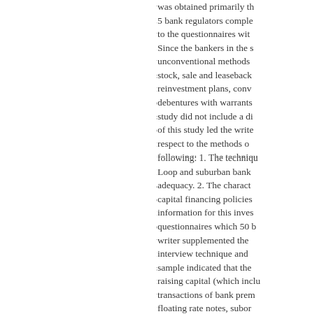was obtained primarily th 5 bank regulators comple to the questionnaires wit Since the bankers in the s unconventional methods stock, sale and leaseback reinvestment plans, conv debentures with warrants study did not include a di of this study led the write respect to the methods o following: 1. The techniqu Loop and suburban bank adequacy. 2. The charact capital financing policies information for this inves questionnaires which 50 b writer supplemented the interview technique and sample indicated that the raising capital (which inclu transactions of bank prem floating rate notes, subor employee stock ownersh of these sources of capit